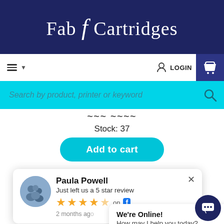Fab4Cartridges
[Figure (screenshot): Navigation bar with hamburger menu, LOGIN button, and shopping cart]
[Figure (screenshot): Cyan search bar with placeholder text 'Search by product, printer or keyword' and search icon]
Stock: 37
[Figure (screenshot): Cyan 'Add to cart' rounded button]
[Figure (photo): Label cartridge roll product image, partially visible]
[Figure (screenshot): Review popup: Paula Powell just left a 5 star review, 4 gold stars shown, 2 months ago, on Facebook]
[Figure (screenshot): Chat popup: We're Online! How may I help you today?]